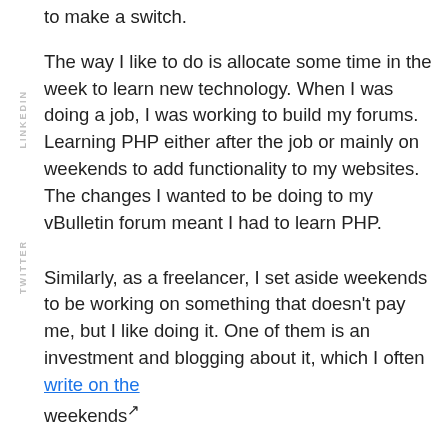to make a switch.
The way I like to do is allocate some time in the week to learn new technology. When I was doing a job, I was working to build my forums. Learning PHP either after the job or mainly on weekends to add functionality to my websites. The changes I wanted to be doing to my vBulletin forum meant I had to learn PHP.
Similarly, as a freelancer, I set aside weekends to be working on something that doesn't pay me, but I like doing it. One of them is an investment and blogging about it, which I often write on the weekends.